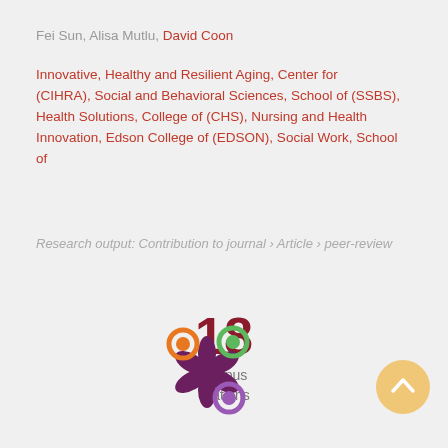Fei Sun, Alisa Mutlu, David Coon
Innovative, Healthy and Resilient Aging, Center for (CIHRA), Social and Behavioral Sciences, School of (SSBS), Health Solutions, College of (CHS), Nursing and Health Innovation, Edson College of (EDSON), Social Work, School of
Research output: Contribution to journal › Article › peer-review
18 Scopus citations
[Figure (logo): Altmetric donut logo with orange, green, and purple circles on dark purple asterisk shape]